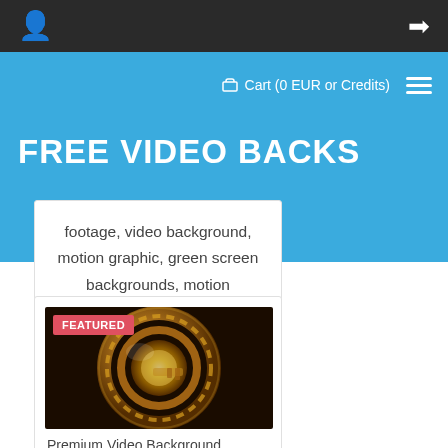Cart (0 EUR or Credits)
FREE VIDEO BACKS
footage, video background, motion graphic, green screen backgrounds, motion backgrounds
[Figure (photo): Gold metallic gear/key mechanism on dark background with FEATURED badge overlay]
Premium Video Background